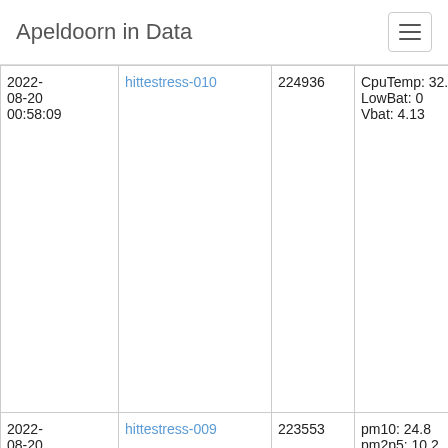Apeldoorn in Data
| Date | Name | Number | Data | Extra |
| --- | --- | --- | --- | --- |
| 2022-08-20 00:58:09 | hittestress-010 | 224936 | CpuTemp: 32.7
LowBat: 0
Vbat: 4.13 | Tim...
19T...
SF:...
Fre... |
| 2022-08-20 00:58:03 | hittestress-009 | 223553 | pm10: 24.8
pm2p5: 10.2
rh: 99.9
temp: 19.1 | Tim...
19T...
SF:...
Fre... |